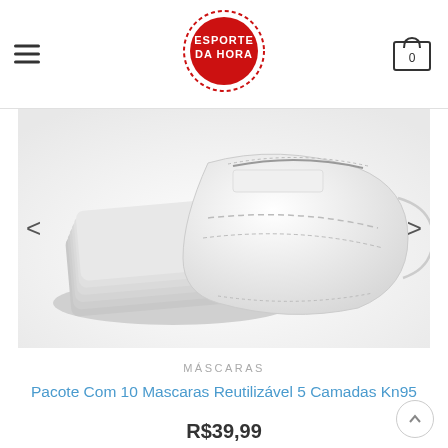[Figure (logo): Esporte Da Hora circular red logo badge with white text]
[Figure (photo): Stack of white KN95 reusable face masks on white background, product photo]
MÁSCARAS
Pacote Com 10 Mascaras Reutilizável 5 Camadas Kn95
R$39,99